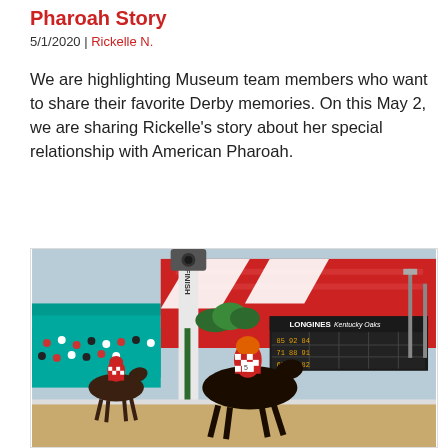Pharoah Story
5/1/2020 | Rickelle N.
We are highlighting Museum team members who want to share their favorite Derby memories. On this May 2, we are sharing Rickelle's story about her special relationship with American Pharoah.
[Figure (photo): Horse race photo at Churchill Downs finish line area. A jockey in red and white checks rides a dark horse past the FINISH pole. Behind is the LONGINES Kentucky Oaks scoreboard, teal grandstand roof, and red stadium stands with crowd.]